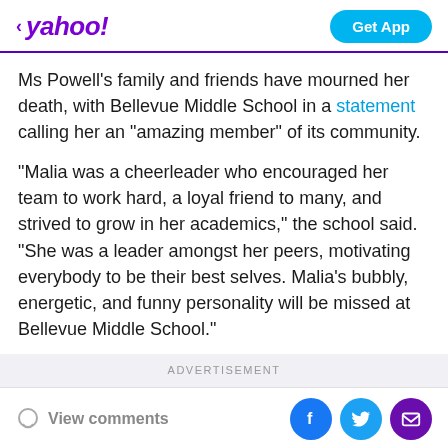< yahoo! | Get App
Ms Powell's family and friends have mourned her death, with Bellevue Middle School in a statement calling her an “amazing member” of its community.
“Malia was a cheerleader who encouraged her team to work hard, a loyal friend to many, and strived to grow in her academics,” the school said. “She was a leader amongst her peers, motivating everybody to be their best selves. Malia’s bubbly, energetic, and funny personality will be missed at Bellevue Middle School.”
ADVERTISEMENT
View comments